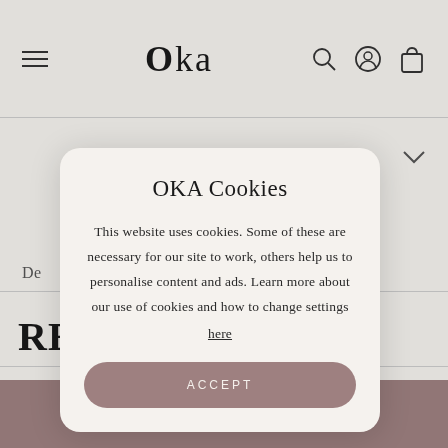OKA
OKA Cookies
This website uses cookies. Some of these are necessary for our site to work, others help us to personalise content and ads. Learn more about our use of cookies and how to change settings here
ACCEPT
ADD TO CART